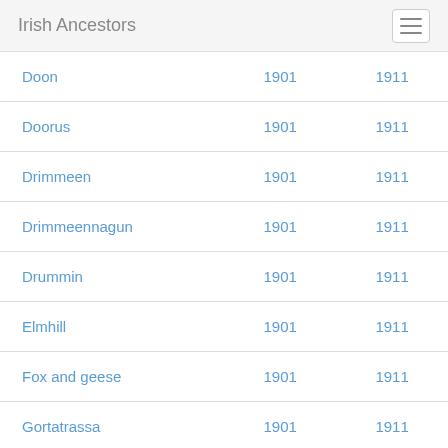Irish Ancestors
|  | 1901 | 1911 |
| --- | --- | --- |
| Doon | 1901 | 1911 |
| Doorus | 1901 | 1911 |
| Drimmeen | 1901 | 1911 |
| Drimmeennagun | 1901 | 1911 |
| Drummin | 1901 | 1911 |
| Elmhill | 1901 | 1911 |
| Fox and geese | 1901 | 1911 |
| Gortatrassa | 1901 | 1911 |